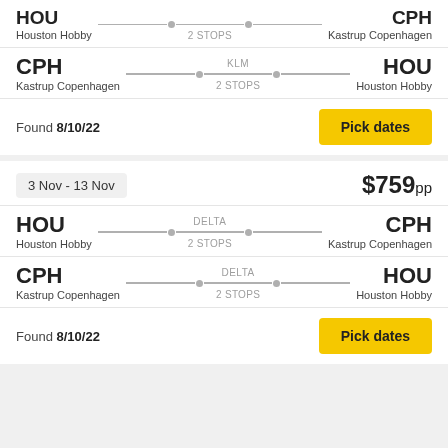Houston Hobby → Kastrup Copenhagen, KLM, 2 STOPS (return CPH→HOU)
CPH Kastrup Copenhagen — KLM — 2 STOPS — HOU Houston Hobby
Found 8/10/22
Pick dates
3 Nov - 13 Nov
$759pp
HOU Houston Hobby — DELTA — 2 STOPS — CPH Kastrup Copenhagen
CPH Kastrup Copenhagen — DELTA — 2 STOPS — HOU Houston Hobby
Found 8/10/22
Pick dates